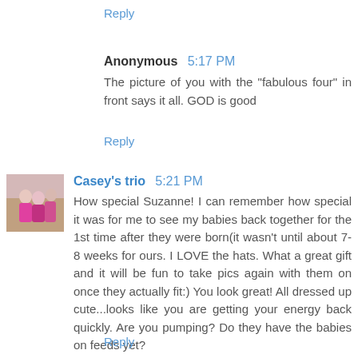Reply
Anonymous  5:17 PM
The picture of you with the "fabulous four" in front says it all. GOD is good
Reply
Casey's trio  5:21 PM
How special Suzanne! I can remember how special it was for me to see my babies back together for the 1st time after they were born(it wasn't until about 7-8 weeks for ours. I LOVE the hats. What a great gift and it will be fun to take pics again with them on once they actually fit:) You look great! All dressed up cute...looks like you are getting your energy back quickly. Are you pumping? Do they have the babies on feeds yet?
Love the updates!
Reply